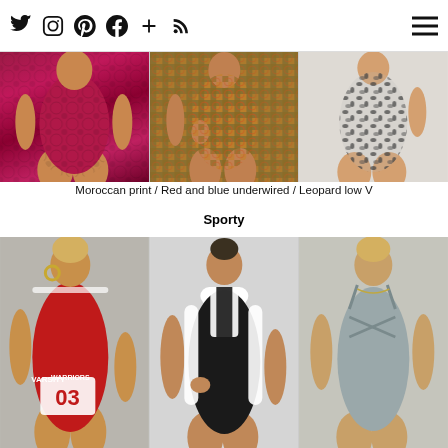Social icons: Twitter, Instagram, Pinterest, Facebook, Plus, RSS feed; Hamburger menu
[Figure (photo): Three swimsuit models in a row: left - Moroccan print red/pink patterned swimsuit, center - Red and blue underwired patterned swimsuit, right - Leopard print low V swimsuit]
Moroccan print / Red and blue underwired / Leopard low V
Sporty
[Figure (photo): Three sporty swimsuit models in a row: left - Red varsity number 03 swimsuit (Baywatch style), center - Black and white color block high neck swimsuit, right - Gray strappy back swimsuit]